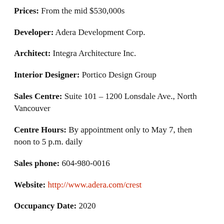Prices: From the mid $530,000s
Developer: Adera Development Corp.
Architect: Integra Architecture Inc.
Interior Designer: Portico Design Group
Sales Centre: Suite 101 – 1200 Lonsdale Ave., North Vancouver
Centre Hours: By appointment only to May 7, then noon to 5 p.m. daily
Sales phone: 604-980-0016
Website: http://www.adera.com/crest
Occupancy Date: 2020